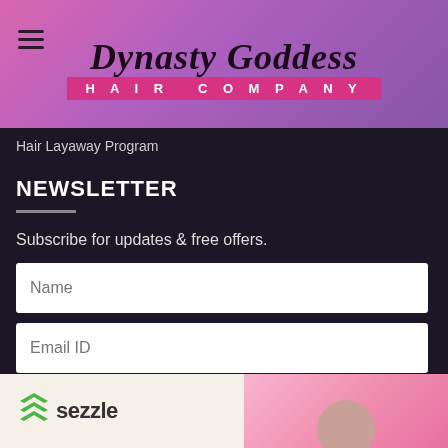[Figure (logo): Dynasty Goddess Hair Company logo with script text and pink banner]
Hair Layaway Program
NEWSLETTER
Subscribe for updates & free offers.
Name
Email ID
SUBSCRIBE
[Figure (logo): Sezzle logo with green chevron icon and model photo on pink background]